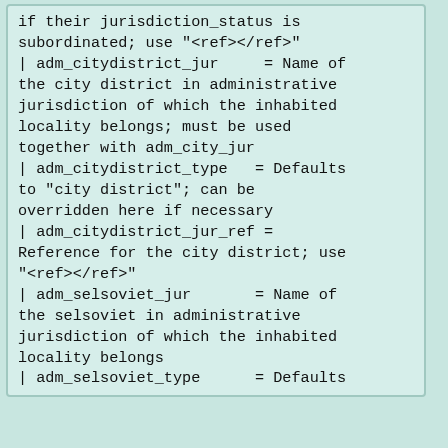if their jurisdiction_status is subordinated; use "<ref></ref>"
| adm_citydistrict_jur    = Name of the city district in administrative jurisdiction of which the inhabited locality belongs; must be used together with adm_city_jur
| adm_citydistrict_type   = Defaults to "city district"; can be overridden here if necessary
| adm_citydistrict_jur_ref = Reference for the city district; use "<ref></ref>"
| adm_selsoviet_jur       = Name of the selsoviet in administrative jurisdiction of which the inhabited locality belongs
| adm_selsoviet_type      = Defaults